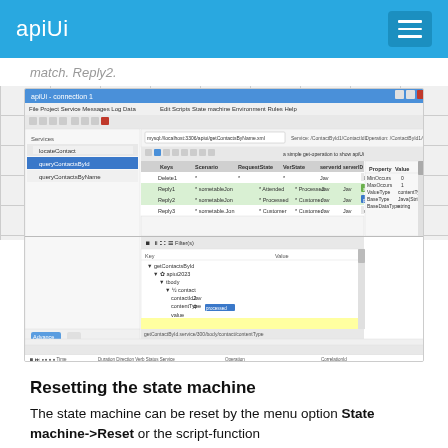apiUi
match. Reply2.
[Figure (screenshot): apiUi application screenshot showing a connection tool with multiple panels: a service list on the left (locateContact, queryContactsByName highlighted), a main grid panel showing HTTP request data with columns for Keys, Scenario, RequestState, VerState, serverid, serverID, serverType, and rows including Delete1, Reply1, Reply2, Reply3 entries. Bottom section shows a tree view with getContactMyId/apiUi/tbody/contact/content/contentType nodes. Right panel shows property inspector. Bottom bar shows HTTP logging tabs.]
Resetting the state machine
The state machine can be reset by the menu option State machine->Reset or the script-function